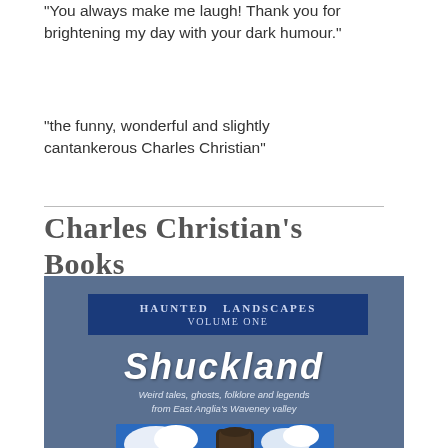"You always make me laugh! Thank you for brightening my day with your dark humour."
"the funny, wonderful and slightly cantankerous Charles Christian"
Charles Christian's Books
[Figure (illustration): Book cover for 'Shuckland' - Haunted Landscapes Volume One. Blue-grey background with dark blue banner reading 'Haunted Landscapes Volume One', large stylized italic white text 'SHUCKLAND', subtitle 'Weird tales, ghosts, folklore and legends from East Anglia's Waveney valley', and a photo of a dark rock/standing stone against a blue sky with clouds.]